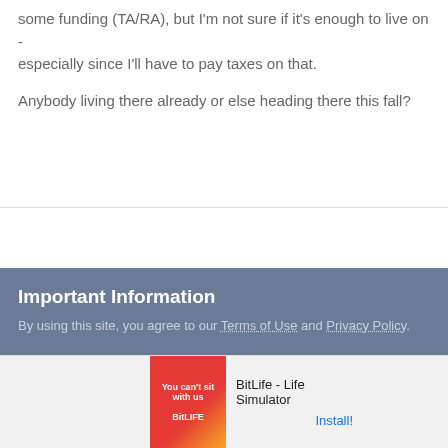some funding (TA/RA), but I'm not sure if it's enough to live on - especially since I'll have to pay taxes on that.

Anybody living there already or else heading there this fall?
Important Information
By using this site, you agree to our Terms of Use and Privacy Policy.
[Figure (screenshot): Advertisement banner for BitLife - Life Simulator app with red/yellow background and install button]